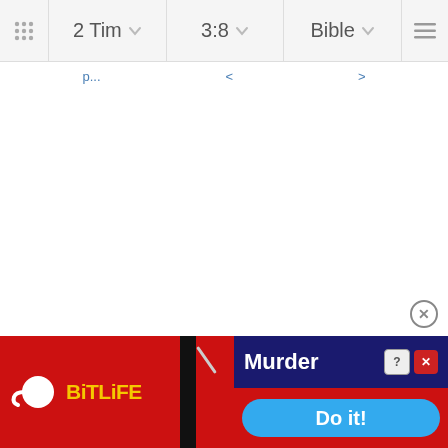2 Tim | 3:8 | Bible
[Figure (screenshot): Bible app screenshot showing navigation bar with '2 Tim', '3:8', 'Bible' dropdowns, breadcrumb links, left/right navigation arrows, and a BitLife advertisement banner at the bottom with 'Murder / Do it!' call to action]